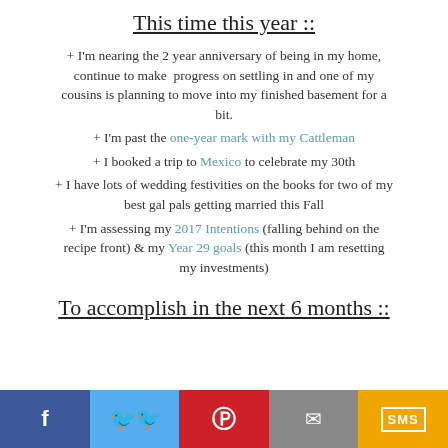This time this year ::
+ I'm nearing the 2 year anniversary of being in my home, continue to make progress on settling in and one of my cousins is planning to move into my finished basement for a bit.
+ I'm past the one-year mark with my Cattleman
+ I booked a trip to Mexico to celebrate my 30th
+ I have lots of wedding festivities on the books for two of my best gal pals getting married this Fall
+ I'm assessing my 2017 Intentions (falling behind on the recipe front) & my Year 29 goals (this month I am resetting my investments)
To accomplish in the next 6 months ::